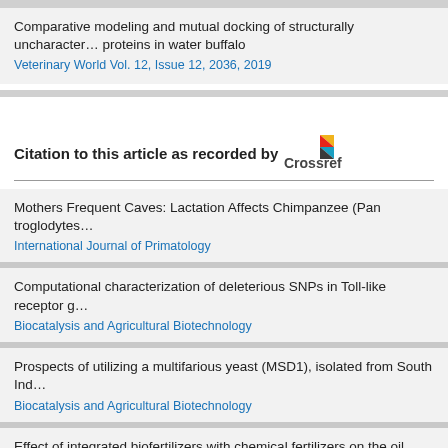Comparative modeling and mutual docking of structurally uncharacterized proteins in water buffalo
Veterinary World Vol. 12, Issue 12, 2036, 2019
Citation to this article as recorded by Crossref
Mothers Frequent Caves: Lactation Affects Chimpanzee (Pan troglodytes
International Journal of Primatology
Computational characterization of deleterious SNPs in Toll-like receptor g
Biocatalysis and Agricultural Biotechnology
Prospects of utilizing a multifarious yeast (MSD1), isolated from South Ind
Biocatalysis and Agricultural Biotechnology
Effect of integrated biofertilizers with chemical fertilizers on the oil palm gr
Biocatalysis and Agricultural Biotechnology